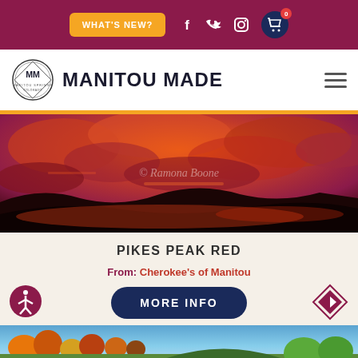WHAT'S NEW? | Manitou Made - navigation header with social icons and cart
[Figure (logo): Manitou Made logo with MM circle emblem and text MANITOU MADE]
[Figure (photo): Dramatic red and orange sunset sky with dark silhouetted clouds - Pikes Peak Red artwork by Ramona Boone]
PIKES PEAK RED
From: Cherokee's of Manitou
MORE INFO
[Figure (photo): Bottom strip showing autumn foliage landscape photograph]